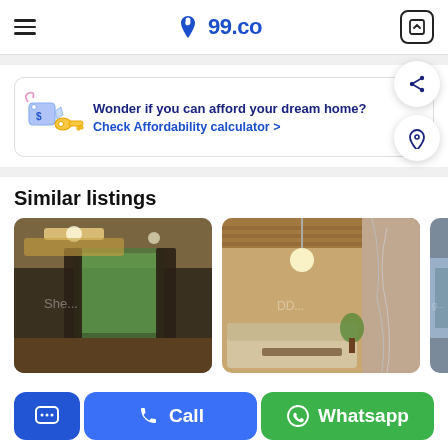99.co
[Figure (screenshot): Affordability calculator banner with keys icon: 'Wonder if you can afford your dream home? Check Affordability calculator >']
Similar listings
[Figure (photo): Interior photo of a living room with ceiling lights, curtains, and green trees outside]
[Figure (photo): Interior photo of a modern hallway/living room with chandelier, marble wall, and wooden ceiling]
[Figure (photo): Partially visible exterior photo of a high-rise building]
Call | Whatsapp